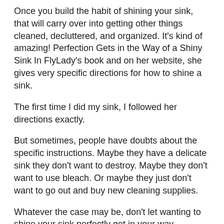Once you build the habit of shining your sink, that will carry over into getting other things cleaned, decluttered, and organized. It's kind of amazing! Perfection Gets in the Way of a Shiny Sink In FlyLady's book and on her website, she gives very specific directions for how to shine a sink.
The first time I did my sink, I followed her directions exactly.
But sometimes, people have doubts about the specific instructions. Maybe they have a delicate sink they don't want to destroy. Maybe they don't want to use bleach. Or maybe they just don't want to go out and buy new cleaning supplies.
Whatever the case may be, don't let wanting to shine your sink perfectly get in your way.
There are actually a lot of ways you can clean a sink